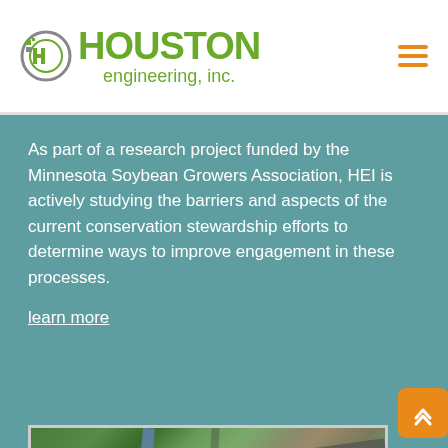[Figure (logo): Houston Engineering, Inc. logo with stylized H icon in green and grey, company name in bold green text]
As part of a research project funded by the Minnesota Soybean Growers Association, HEI is actively studying the barriers and aspects of the current conservation stewardship efforts to determine ways to improve engagement in these processes.
learn more
[Figure (photo): Aerial photograph of a city area showing highways, a river, trees, and urban development]